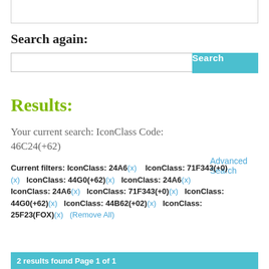Search again:
Search [input box] [Search button] Advanced Search
Results:
Your current search: IconClass Code:
46C24(+62)
Current filters: IconClass: 24A6(x)   IconClass: 71F343(+0)(x)   IconClass: 44G0(+62)(x)   IconClass: 24A6(x)   IconClass: 24A6(x)   IconClass: 71F343(+0)(x)   IconClass: 44G0(+62)(x)   IconClass: 44B62(+02)(x)   IconClass: 25F23(FOX)(x)   (Remove All)
2 results found Page 1 of 1